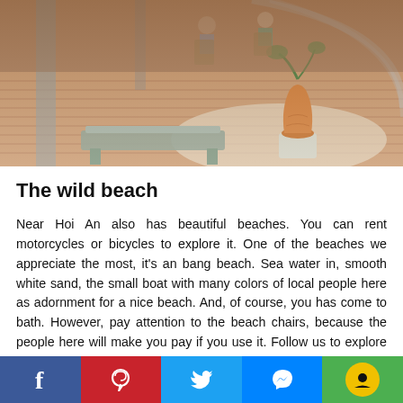[Figure (photo): Aerial view of an outdoor patio/courtyard with brick flooring, people sitting on chairs, a concrete bench, and a tall orange decorative vase with a plant.]
The wild beach
Near Hoi An also has beautiful beaches. You can rent motorcycles or bicycles to explore it. One of the beaches we appreciate the most, it's an bang beach. Sea water in, smooth white sand, the small boat with many colors of local people here as adornment for a nice beach. And, of course, you has come to bath. However, pay attention to the beach chairs, because the people here will make you pay if you use it. Follow us to explore the beach, there are more to see...
[Figure (infographic): Social sharing bar with Facebook (blue), Pinterest (red), Twitter (light blue), Messenger (blue), and WhatsApp (green) buttons.]